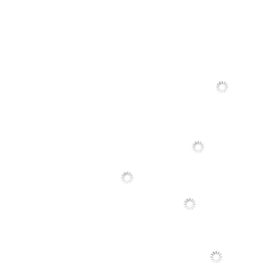[Figure (other): Loading spinner icon at position top-right area]
[Figure (other): Loading spinner icon at position upper-center area]
[Figure (other): Loading spinner icon at position middle-left area]
[Figure (other): Loading spinner icon at position middle-right area]
[Figure (other): Loading spinner icon at position bottom-right area]